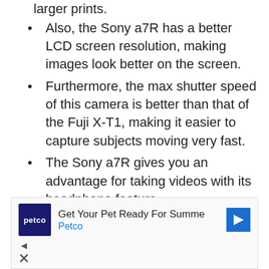larger prints.
Also, the Sony a7R has a better LCD screen resolution, making images look better on the screen.
Furthermore, the max shutter speed of this camera is better than that of the Fuji X-T1, making it easier to capture subjects moving very fast.
The Sony a7R gives you an advantage for taking videos with its headphone feature.
File transfer is also made easy with this camera. The NFC connection feature allows you to transfer images easily
[Figure (other): Petco advertisement banner: Get Your Pet Ready For Summe - Petco, with play and close icons]